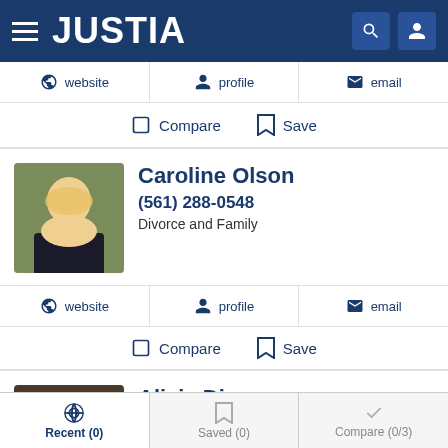JUSTIA
website  profile  email
Compare  Save
Caroline Olson
(561) 288-0548
Divorce and Family
website  profile  email
Compare  Save
Alicia Dixon
10.0 ★★★★★ (1 Peer Review)
(561) 446-4427 Free Consultation + Video Conf
Recent (0)  Saved (0)  Compare (0/3)